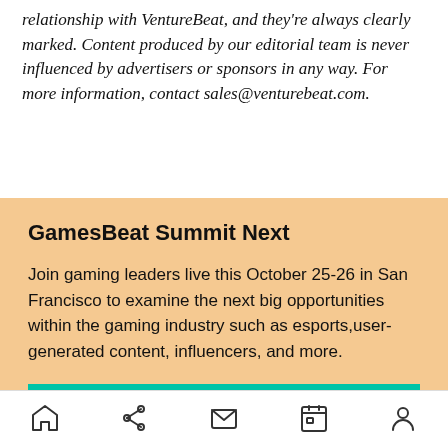relationship with VentureBeat, and they're always clearly marked. Content produced by our editorial team is never influenced by advertisers or sponsors in any way. For more information, contact sales@venturebeat.com.
GamesBeat Summit Next
Join gaming leaders live this October 25-26 in San Francisco to examine the next big opportunities within the gaming industry such as esports,user-generated content, influencers, and more.
Register Now
home share mail calendar profile